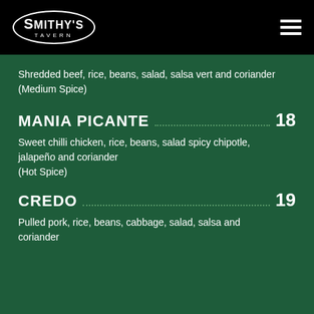[Figure (logo): Smithy's Tavern logo in oval border with hamburger menu icon]
Shredded beef, rice, beans, salad, salsa vert and coriander (Medium Spice)
MANIA PICANTE  18
Sweet chilli chicken, rice, beans, salad spicy chipotle, jalapeño and coriander (Hot Spice)
CREDO  19
Pulled pork, rice, beans, cabbage, salad, salsa and coriander